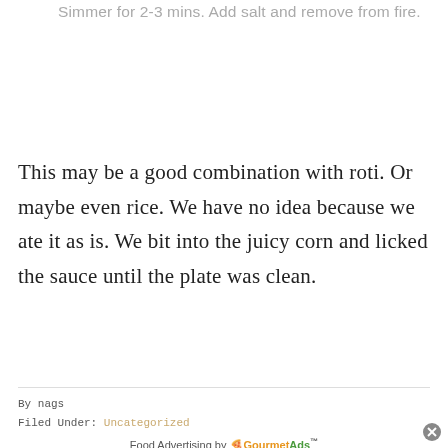Simmer for 2-3 mins. Add salt and remove from fire.
This may be a good combination with roti. Or maybe even rice. We have no idea because we ate it as is. We bit into the juicy corn and licked the sauce until the plate was clean.
By nags
Filed Under: Uncategorized
Food Advertising by GourmetAds™
Share This Recipe
[Figure (infographic): Social sharing buttons: Facebook (0), WhatsApp, Pinterest (0), Twitter, Google+ (0), Email, Print]